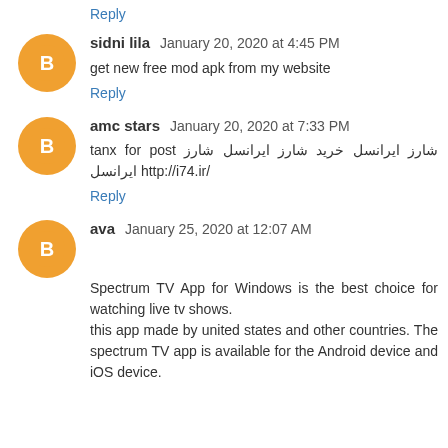Reply
sidni lila  January 20, 2020 at 4:45 PM
get new free mod apk from my website
Reply
amc stars  January 20, 2020 at 7:33 PM
tanx for post شارز ایرانسل خرید شارز ایرانسل شارز ایرانسل http://i74.ir/
Reply
ava  January 25, 2020 at 12:07 AM
Spectrum TV App for Windows is the best choice for watching live tv shows.
this app made by united states and other countries. The spectrum TV app is available for the Android device and iOS device.